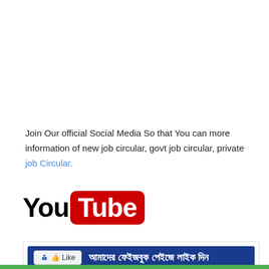Join Our official Social Media So that You can more information of new job circular, govt job circular, private job Circular.
[Figure (logo): YouTube logo — 'You' in black bold text followed by 'Tube' in white bold text on a red rounded rectangle background]
[Figure (infographic): Facebook Like button banner: dark blue background with a white Facebook Like button on the left and Bengali text 'আমাদের ফেইজবুক পেইজে লাইক দিন' on the right]
[Figure (infographic): Facebook Group banner: light blue/purple background with blue circular group icon on the left, Bengali text 'আমাদের ফেইজবুক গ্রুপে যোগ দিন' in the center, and a green arrow button on the right]